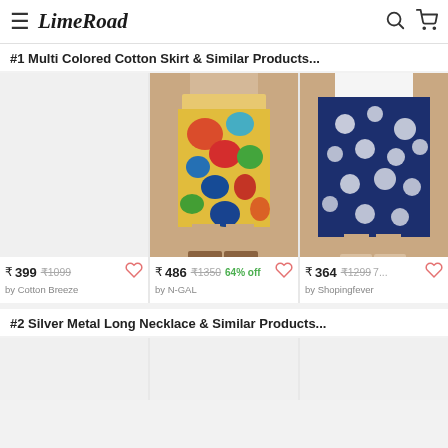LimeRoad
#1 Multi Colored Cotton Skirt & Similar Products...
[Figure (photo): Blank/empty product image card - Cotton Breeze skirt, price ₹399 original ₹1099, by Cotton Breeze]
[Figure (photo): Floral pencil skirt in yellow/green/red multicolor pattern worn by a model, by N-GAL, price ₹486 original ₹1350, 64% off]
[Figure (photo): Navy blue floral skirt partially visible worn by a model, by Shopingfever, price ₹364 original ₹1299]
#2 Silver Metal Long Necklace & Similar Products...
[Figure (photo): Three blank product image cards for Silver Metal Long Necklace section]